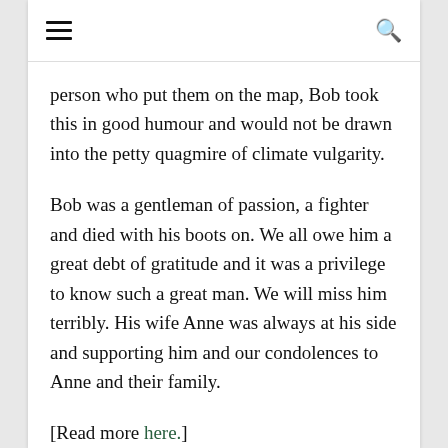≡   🔍
person who put them on the map, Bob took this in good humour and would not be drawn into the petty quagmire of climate vulgarity.
Bob was a gentleman of passion, a fighter and died with his boots on. We all owe him a great debt of gratitude and it was a privilege to know such a great man. We will miss him terribly. His wife Anne was always at his side and supporting him and our condolences to Anne and their family.
[Read more here.]